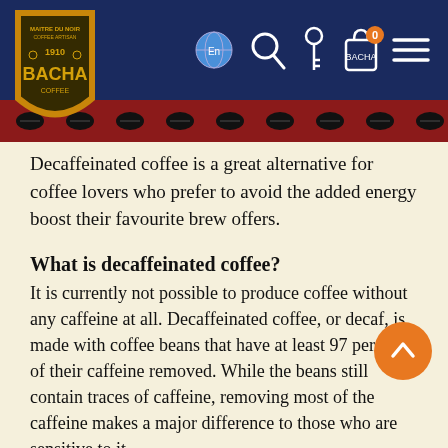[Figure (logo): Bacha Coffee logo — Maitre du Noir Coffee Artisan, 1910, gold badge on dark background]
Navigation bar with language selector (En), search, key, bag (0), and menu icons
[Figure (illustration): Decorative stripe with repeating coffee bean icons on dark red background]
Decaffeinated coffee is a great alternative for coffee lovers who prefer to avoid the added energy boost their favourite brew offers.
What is decaffeinated coffee?
It is currently not possible to produce coffee without any caffeine at all. Decaffeinated coffee, or decaf, is made with coffee beans that have at least 97 percent of their caffeine removed. While the beans still contain traces of caffeine, removing most of the caffeine makes a major difference to those who are sensitive to it.
How is decaffeinated coffee made?
There are several ways to decaffeinate coffee. The